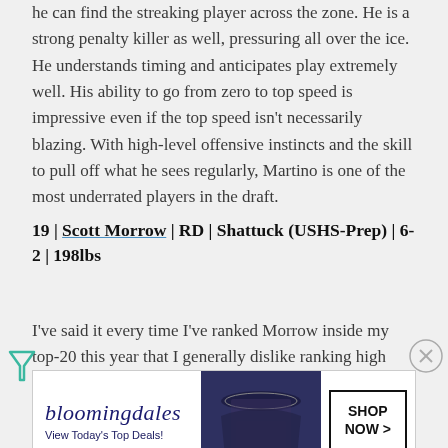he can find the streaking player across the zone. He is a strong penalty killer as well, pressuring all over the ice. He understands timing and anticipates play extremely well. His ability to go from zero to top speed is impressive even if the top speed isn't necessarily blazing. With high-level offensive instincts and the skill to pull off what he sees regularly, Martino is one of the most underrated players in the draft.
19 | Scott Morrow | RD | Shattuck (USHS-Prep) | 6-2 | 198lbs
I've said it every time I've ranked Morrow inside my top-20 this year that I generally dislike ranking high school players inside the top 75 in any year. This year is an exception because Morrow is a truly stunning defensive prospect, arguably the most complete skater among blueliners in this class with a Cale...
[Figure (other): Bloomingdale's advertisement banner with 'View Today's Top Deals!' tagline and 'SHOP NOW >' call to action button, overlaying the article text]